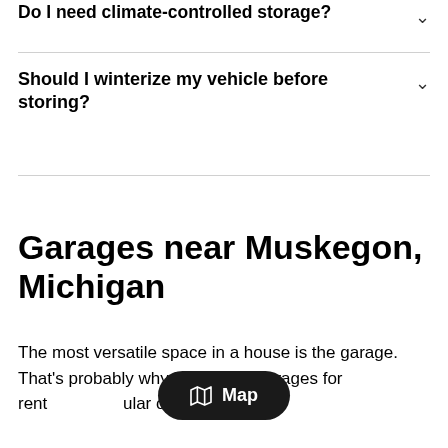Do I need climate-controlled storage?
Should I winterize my vehicle before storing?
Garages near Muskegon, Michigan
The most versatile space in a house is the garage. That's probably why Muskegon garages for rent are so popular on Neighbor!
[Figure (other): Map button overlay at bottom center of page]